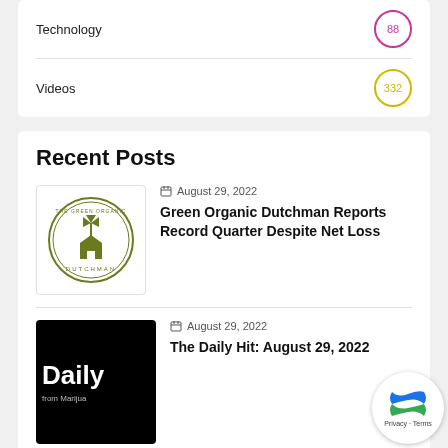Technology
Videos
Recent Posts
[Figure (logo): The Green Organic Dutchman circular logo with windmill and barn graphic in olive green]
August 29, 2022
Green Organic Dutchman Reports Record Quarter Despite Net Loss
[Figure (photo): Black background image with white bold text reading 'Daily' and smaller text 'from Marijua...']
August 29, 2022
The Daily Hit: August 29, 2022